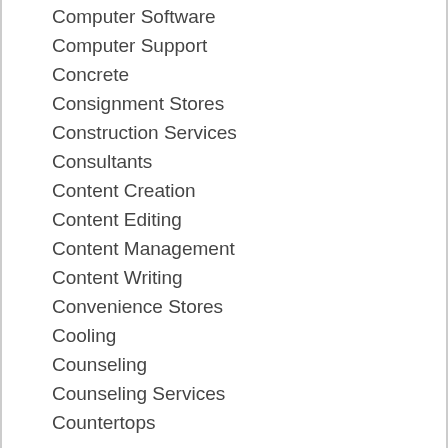Computer Software
Computer Support
Concrete
Consignment Stores
Construction Services
Consultants
Content Creation
Content Editing
Content Management
Content Writing
Convenience Stores
Cooling
Counseling
Counseling Services
Countertops